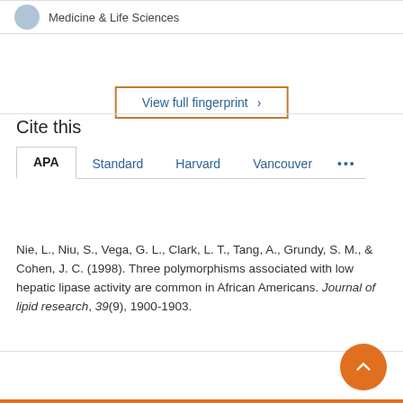Medicine & Life Sciences
View full fingerprint >
Cite this
APA | Standard | Harvard | Vancouver ...
Nie, L., Niu, S., Vega, G. L., Clark, L. T., Tang, A., Grundy, S. M., & Cohen, J. C. (1998). Three polymorphisms associated with low hepatic lipase activity are common in African Americans. Journal of lipid research, 39(9), 1900-1903.